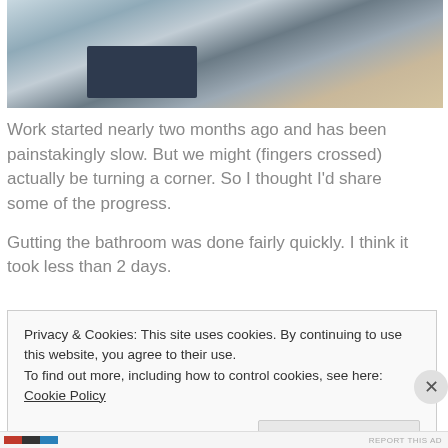[Figure (photo): Bathroom interior photo showing a dark navy bath mat on tile floor, with shower curtain and toilet visible]
Work started nearly two months ago and has been painstakingly slow. But we might (fingers crossed) actually be turning a corner. So I thought I'd share some of the progress.
Gutting the bathroom was done fairly quickly. I think it took less than 2 days.
Privacy & Cookies: This site uses cookies. By continuing to use this website, you agree to their use.
To find out more, including how to control cookies, see here: Cookie Policy
Close and accept